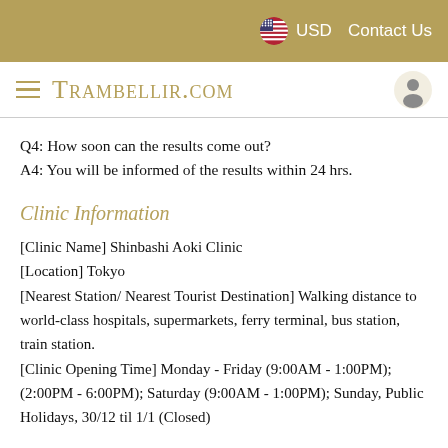USD  Contact Us  — TRAMBELLIR.com
Q4: How soon can the results come out?
A4: You will be informed of the results within 24 hrs.
Clinic Information
[Clinic Name] Shinbashi Aoki Clinic
[Location] Tokyo
[Nearest Station/ Nearest Tourist Destination] Walking distance to world-class hospitals, supermarkets, ferry terminal, bus station, train station.
[Clinic Opening Time] Monday - Friday (9:00AM - 1:00PM); (2:00PM - 6:00PM); Saturday (9:00AM - 1:00PM); Sunday, Public Holidays, 30/12 til 1/1 (Closed)